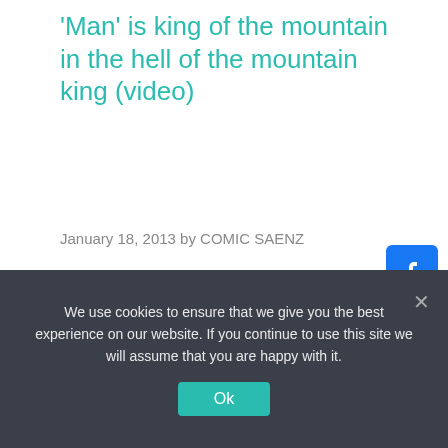'Man' is king of the mountain in the hell of the mountain king (video)
January 18, 2013 by COMIC SAENZ
[Figure (other): Social share buttons: Facebook, Twitter, Email, Plus]
We use cookies to ensure that we give you the best experience on our website. If you continue to use this site we will assume that you are happy with it.